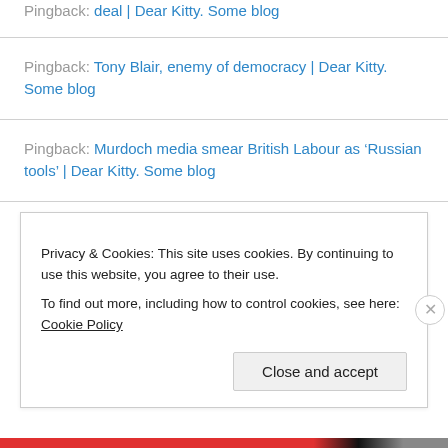Pingback: deal | Dear Kitty. Some blog
Pingback: Tony Blair, enemy of democracy | Dear Kitty. Some blog
Pingback: Murdoch media smear British Labour as ‘Russian tools’ | Dear Kitty. Some blog
Pingback: Donald Trump sabotages peace process in Korea | Dear Kitty. Some blog
Privacy & Cookies: This site uses cookies. By continuing to use this website, you agree to their use. To find out more, including how to control cookies, see here: Cookie Policy